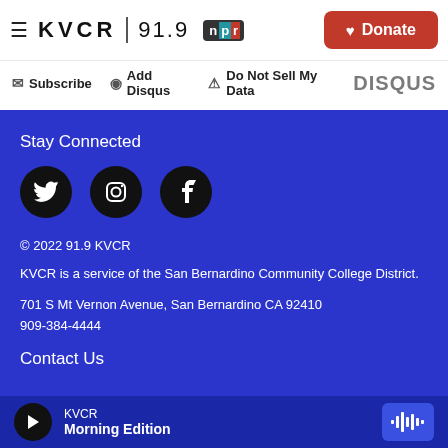KVCR 91.9 NPR | Donate
Subscribe | Add Disqus | Do Not Sell My Data | DISQUS
Stay Connected
[Figure (illustration): Social media icons: Twitter, Instagram, Facebook as black circles]
© 2022 91.9 KVCR
KVCR is a service of the San Bernardino Community College District.
701 S Mt Vernon Avenue, San Bernardino CA 92410
909-384-4444
Contact Us
KVCR
Morning Edition